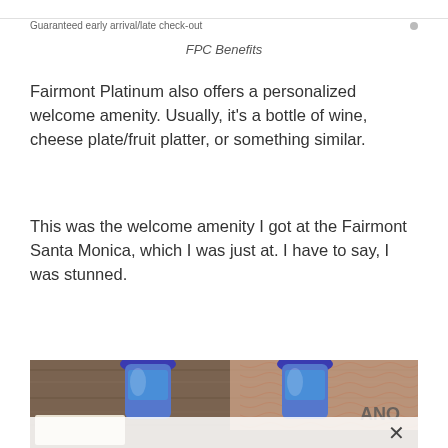Guaranteed early arrival/late check-out
FPC Benefits
Fairmont Platinum also offers a personalized welcome amenity. Usually, it's a bottle of wine, cheese plate/fruit platter, or something similar.
This was the welcome amenity I got at the Fairmont Santa Monica, which I was just at. I have to say, I was stunned.
[Figure (photo): Two blue water bottles with blue caps on a wooden surface, with a card/envelope visible and partial text 'ANO' on the right side. Bottom portion shows a white overlay with a close (X) button.]